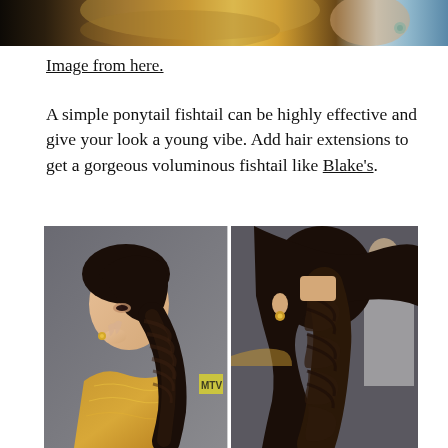[Figure (photo): Partial top image showing a woman with blonde hair and turquoise earring against a dark background, cropped at the top of the page]
Image from here.
A simple ponytail fishtail can be highly effective and give your look a young vibe. Add hair extensions to get a gorgeous voluminous fishtail like Blake's.
[Figure (photo): Two side-by-side photos of a woman (Selena Gomez) with a dark fishtail braid hairstyle. Left photo shows her face in profile wearing a gold dress at an awards show. Right photo shows the back view of the fishtail braid up close.]